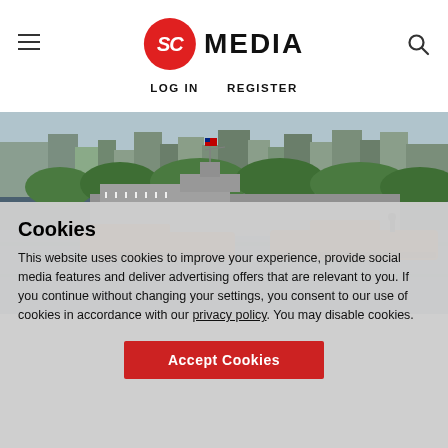SC MEDIA | LOG IN  REGISTER
[Figure (photo): A US Navy ship sailing on a river with orange escort boats, with a city skyline and trees in the background.]
Cookies
This website uses cookies to improve your experience, provide social media features and deliver advertising offers that are relevant to you. If you continue without changing your settings, you consent to our use of cookies in accordance with our privacy policy. You may disable cookies.
Accept Cookies